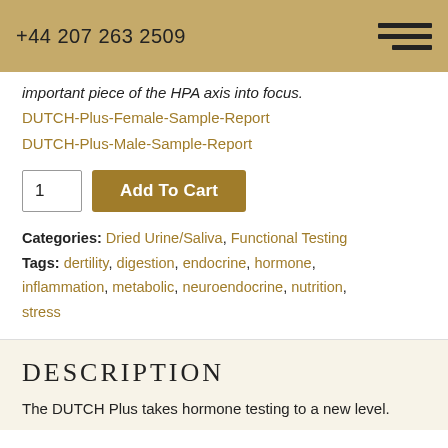+44 207 263 2509
important piece of the HPA axis into focus.
DUTCH-Plus-Female-Sample-Report
DUTCH-Plus-Male-Sample-Report
1  Add To Cart
Categories: Dried Urine/Saliva, Functional Testing
Tags: dertility, digestion, endocrine, hormone, inflammation, metabolic, neuroendocrine, nutrition, stress
DESCRIPTION
The DUTCH Plus takes hormone testing to a new level.